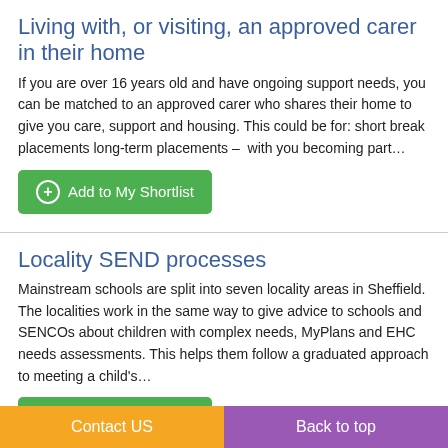Living with, or visiting, an approved carer in their home
If you are over 16 years old and have ongoing support needs, you can be matched to an approved carer who shares their home to give you care, support and housing. This could be for: short break placements long-term placements – with you becoming part…
Locality SEND processes
Mainstream schools are split into seven locality areas in Sheffield. The localities work in the same way to give advice to schools and SENCOs about children with complex needs, MyPlans and EHC needs assessments. This helps them follow a graduated approach to meeting a child's…
Loneliness in older people
Older people are especially vulnerable to loneliness and social isolation - and it can have a serious ef... But there are